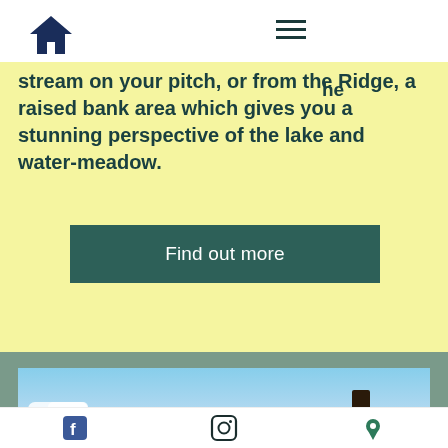stream on your pitch, or from the Ridge, a raised bank area which gives you a stunning perspective of the lake and water-meadow.
Find out more
[Figure (photo): Outdoor landscape photo showing a clear blue sky with scattered white clouds and a tall dark tree silhouette at lower right.]
Facebook | Instagram | Location